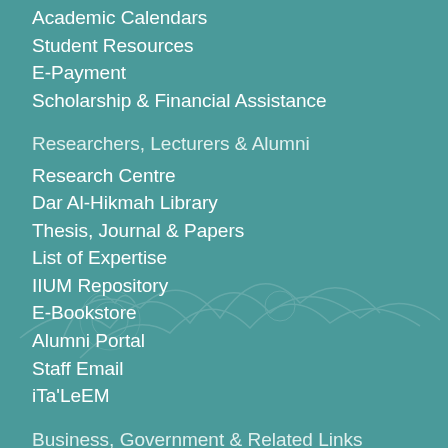Academic Calendars
Student Resources
E-Payment
Scholarship & Financial Assistance
Researchers, Lecturers & Alumni
Research Centre
Dar Al-Hikmah Library
Thesis, Journal & Papers
List of Expertise
IIUM Repository
E-Bookstore
Alumni Portal
Staff Email
iTa'LeEM
Business, Government & Related Links
IIUM Holdings Sdn. Bhd.
Vendor Portal